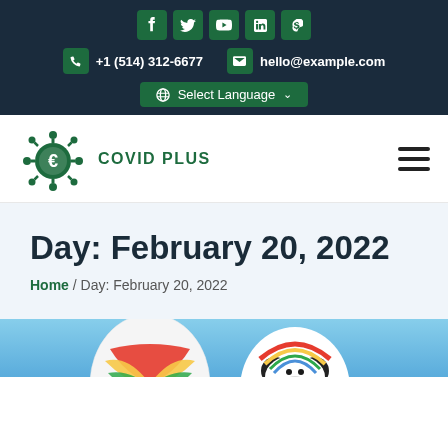Social icons: f, Twitter, YouTube, in, Skype | +1 (514) 312-6677 | hello@example.com | Select Language
[Figure (logo): Covid Plus logo with virus icon and text 'COVID PLUS' in green]
Day: February 20, 2022
Home / Day: February 20, 2022
[Figure (photo): Partial view of colorful balloon figures against a blue sky]